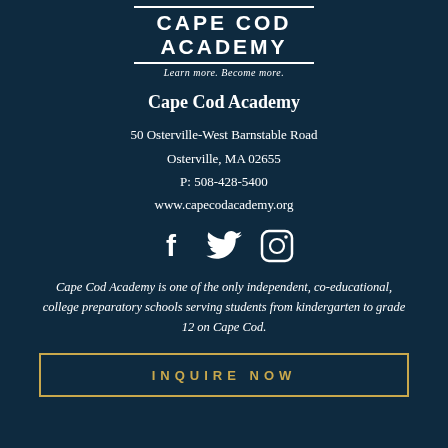[Figure (logo): Cape Cod Academy logo with horizontal rules above and below the name and tagline 'Learn more. Become more.']
Cape Cod Academy
50 Osterville-West Barnstable Road
Osterville, MA 02655
P: 508-428-5400
www.capecodacademy.org
[Figure (illustration): Social media icons: Facebook (f), Twitter (bird), Instagram (camera)]
Cape Cod Academy is one of the only independent, co-educational, college preparatory schools serving students from kindergarten to grade 12 on Cape Cod.
INQUIRE NOW